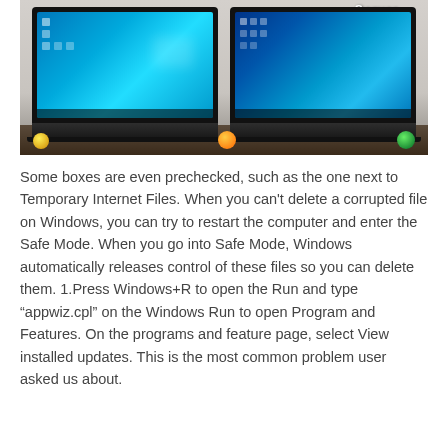[Figure (photo): Two Lenovo laptops side by side showing Windows 10 desktop screens, with colorful balls in the background and a 'Server' label in the upper right area of the image.]
Some boxes are even prechecked, such as the one next to Temporary Internet Files. When you can't delete a corrupted file on Windows, you can try to restart the computer and enter the Safe Mode. When you go into Safe Mode, Windows automatically releases control of these files so you can delete them. 1.Press Windows+R to open the Run and type “appwiz.cpl” on the Windows Run to open Program and Features. On the programs and feature page, select View installed updates. This is the most common problem user asked us about.